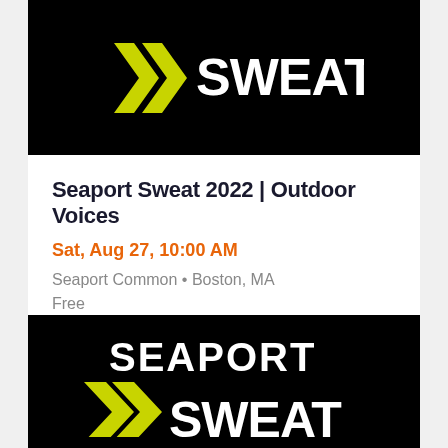[Figure (logo): Seaport Sweat logo on black background — two yellow chevron arrows pointing right, white text SWEAT above]
Seaport Sweat 2022 | Outdoor Voices
Sat, Aug 27, 10:00 AM
Seaport Common • Boston, MA
Free
[Figure (logo): Seaport Sweat logo on black background — white text SEAPORT above, two yellow chevron arrows left of white text SWEAT below]